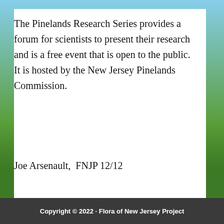The Pinelands Research Series provides a forum for scientists to present their research and is a free event that is open to the public.  It is hosted by the New Jersey Pinelands Commission.
Joe Arsenault,  FNJP 12/12
[Figure (other): Share / Save button widget with Facebook, Twitter, and forward icons]
FILED UNDER: NEWS
Copyright © 2022 · Flora of New Jersey Project